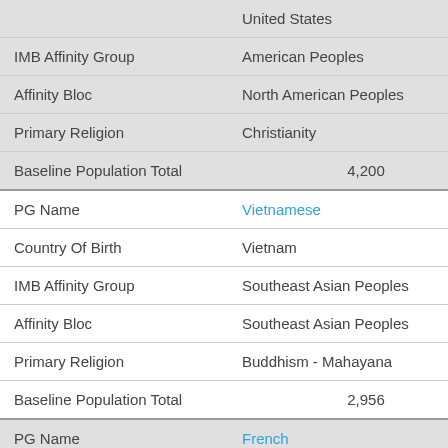| Field | Value |
| --- | --- |
| IMB Affinity Group | American Peoples |
| Affinity Bloc | North American Peoples |
| Primary Religion | Christianity |
| Baseline Population Total | 4,200 |
| PG Name | Vietnamese |
| Country Of Birth | Vietnam |
| IMB Affinity Group | Southeast Asian Peoples |
| Affinity Bloc | Southeast Asian Peoples |
| Primary Religion | Buddhism - Mahayana |
| Baseline Population Total | 2,956 |
| PG Name | French |
| Country Of Birth | France |